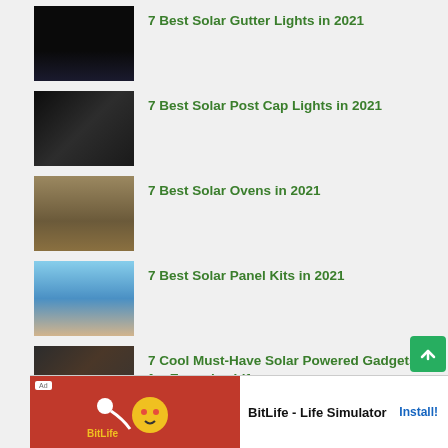7 Best Solar Gutter Lights in 2021
7 Best Solar Post Cap Lights in 2021
7 Best Solar Ovens in 2021
7 Best Solar Panel Kits in 2021
7 Cool Must-Have Solar Powered Gadgets for Everyday Life
[Figure (infographic): Advertisement banner for BitLife - Life Simulator app with red background and logo]